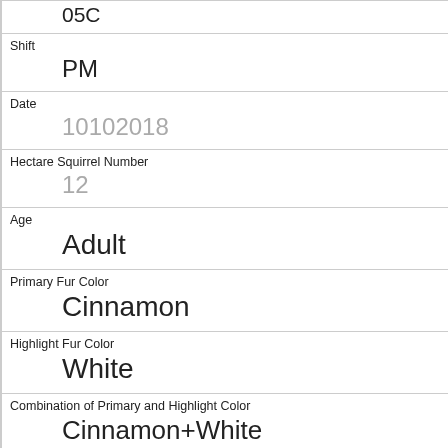05C
Shift
PM
Date
10102018
Hectare Squirrel Number
12
Age
Adult
Primary Fur Color
Cinnamon
Highlight Fur Color
White
Combination of Primary and Highlight Color
Cinnamon+White
Color notes
Location
Ground Plane
Above Ground Sighter Measurement
FALSE